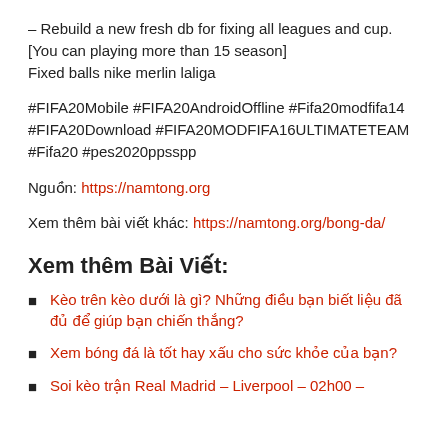– Rebuild a new fresh db for fixing all leagues and cup. [You can playing more than 15 season] Fixed balls nike merlin laliga
#FIFA20Mobile #FIFA20AndroidOffline #Fifa20modfifa14 #FIFA20Download #FIFA20MODFIFA16ULTIMATETEAM #Fifa20 #pes2020ppsspp
Nguồn: https://namtong.org
Xem thêm bài viết khác: https://namtong.org/bong-da/
Xem thêm Bài Viết:
Kèo trên kèo dưới là gì? Những điều bạn biết liệu đã đủ để giúp bạn chiến thắng?
Xem bóng đá là tốt hay xấu cho sức khỏe của bạn?
Soi kèo trận Real Madrid – Liverpool – 02h00 –